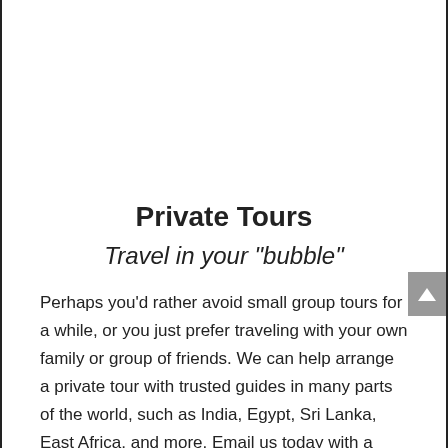Private Tours
Travel in your "bubble"
Perhaps you'd rather avoid small group tours for a while, or you just prefer traveling with your own family or group of friends. We can help arrange a private tour with trusted guides in many parts of the world, such as India, Egypt, Sri Lanka, East Africa, and more. Email us today with a "wishlist" and let us help make your travel bubble dreams come true!